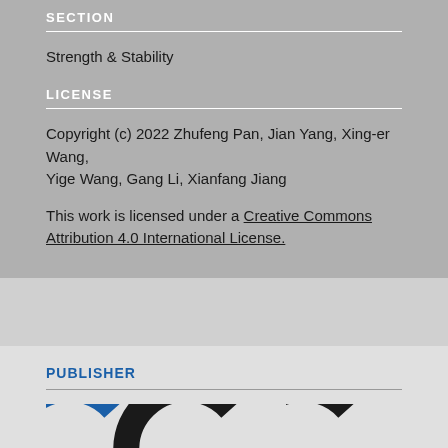SECTION
Strength & Stability
LICENSE
Copyright (c) 2022 Zhufeng Pan, Jian Yang, Xing-er Wang, Yige Wang, Gang Li, Xianfang Jiang
This work is licensed under a Creative Commons Attribution 4.0 International License.
PUBLISHER
[Figure (logo): Publisher logo with blue and black circular arc letters]